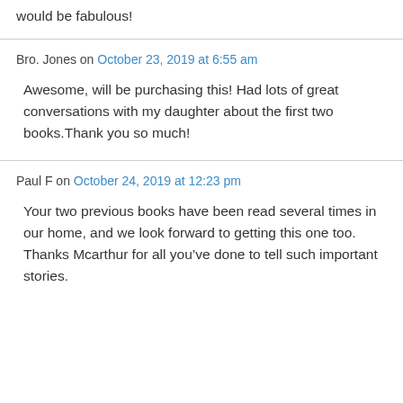would be fabulous!
Bro. Jones on October 23, 2019 at 6:55 am
Awesome, will be purchasing this! Had lots of great conversations with my daughter about the first two books.Thank you so much!
Paul F on October 24, 2019 at 12:23 pm
Your two previous books have been read several times in our home, and we look forward to getting this one too. Thanks Mcarthur for all you’ve done to tell such important stories.